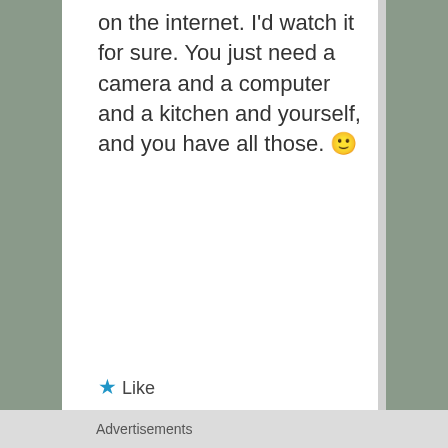on the internet. I'd watch it for sure. You just need a camera and a computer and a kitchen and yourself, and you have all those. 🙂
★ Like
[Figure (photo): Small thumbnail photo showing strawberries on a white plate]
Enchanted Seashells on January 14, 2013 at 6:23 PM said:
Advertisements